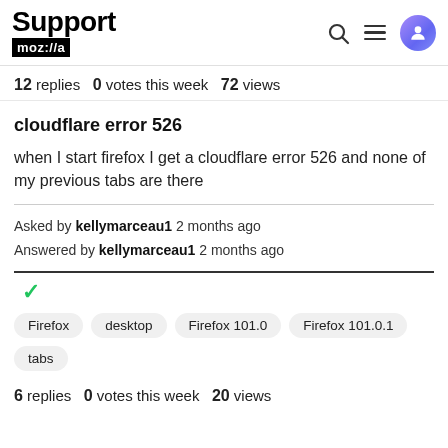Support moz://a
12 replies  0 votes this week  72 views
cloudflare error 526
when I start firefox I get a cloudflare error 526 and none of my previous tabs are there
Asked by kellymarceau1 2 months ago
Answered by kellymarceau1 2 months ago
✓
Firefox  desktop  Firefox 101.0  Firefox 101.0.1  tabs
6 replies  0 votes this week  20 views